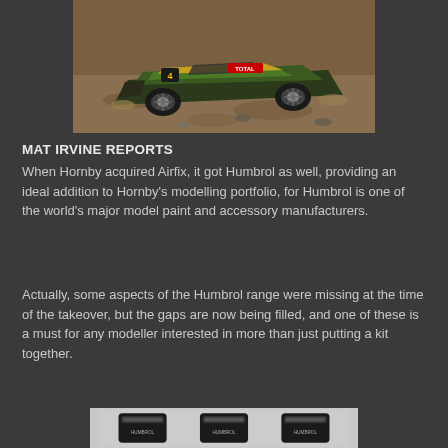[Figure (photo): A model rally car, Ford Fiesta WRC with Total and number 4 livery, on a dirt/gravel surface]
MAT IRVINE REPORTS
When Hornby acquired Airfix, it got Humbrol as well, providing an ideal addition to Hornby’s modelling portfolio, for Humbrol is one of the world’s major model paint and accessory manufacturers.
Actually, some aspects of the Humbrol range were missing at the time of the takeover, but the gaps are now being filled, and one of these is a must for any modeller interested in more than just putting a kit together.
[Figure (photo): Three black Humbrol paint/accessory cans/pots on a light grey background]